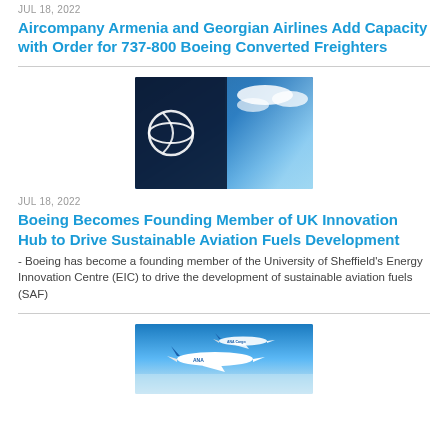JUL 18, 2022
Aircompany Armenia and Georgian Airlines Add Capacity with Order for 737-800 Boeing Converted Freighters
[Figure (photo): Boeing logo on dark building facade against blue sky with clouds]
JUL 18, 2022
Boeing Becomes Founding Member of UK Innovation Hub to Drive Sustainable Aviation Fuels Development
- Boeing has become a founding member of the University of Sheffield's Energy Innovation Centre (EIC) to drive the development of sustainable aviation fuels (SAF)
[Figure (photo): ANA Cargo aircraft flying in blue sky]